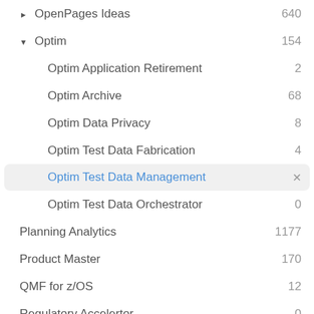OpenPages Ideas    640
Optim    154
Optim Application Retirement    2
Optim Archive    68
Optim Data Privacy    8
Optim Test Data Fabrication    4
Optim Test Data Management    ×
Optim Test Data Orchestrator    0
Planning Analytics    1177
Product Master    170
QMF for z/OS    12
Regulatory Accelertor    0
Replication: Change Data Capture    241
Replication (MS+VSAM)    70